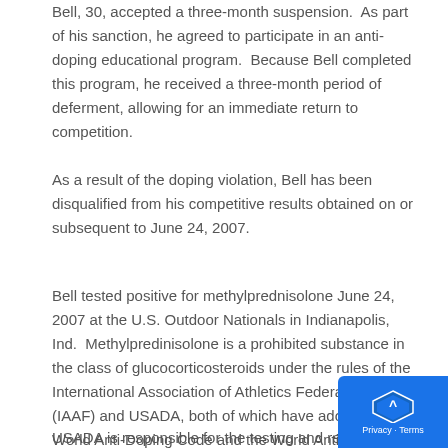Bell, 30, accepted a three-month suspension.  As part of his sanction, he agreed to participate in an anti-doping educational program.  Because Bell completed this program, he received a three-month period of deferment, allowing for an immediate return to competition.
As a result of the doping violation, Bell has been disqualified from his competitive results obtained on or subsequent to June 24, 2007.
Bell tested positive for methylprednisolone June 24, 2007 at the U.S. Outdoor Nationals in Indianapolis, Ind.  Methylpredinisolone is a prohibited substance in the class of glucocorticosteroids under the rules of the International Association of Athletics Federations (IAAF) and USADA, both of which have adopted the World Anti-Doping Code and the World Anti-Doping Agency (WADA) Prohibited List.
USADA is responsible for the testing and results management